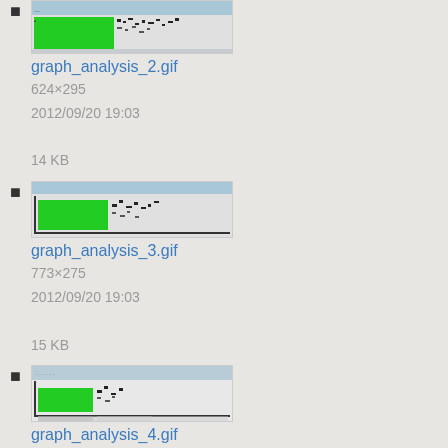graph_analysis_2.gif
624×295
2012/09/20 19:03
14 KB
graph_analysis_3.gif
773×275
2012/09/20 19:03
15 KB
graph_analysis_4.gif
520×175
2012/09/20 19:03
9.3 KB
group_mgmt_pic1.png
1388×580
2014/02/05 23:36